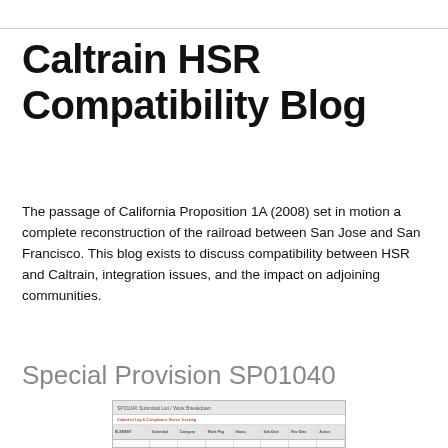Caltrain HSR Compatibility Blog
The passage of California Proposition 1A (2008) set in motion a complete reconstruction of the railroad between San Jose and San Francisco. This blog exists to discuss compatibility between HSR and Caltrain, integration issues, and the impact on adjoining communities.
02 January 2016
Special Provision SP01040
[Figure (screenshot): Screenshot of a spreadsheet table labeled SP01040 Submittal List / Work Breakdown, showing multiple rows and columns with red and green text entries indicating submission status items.]